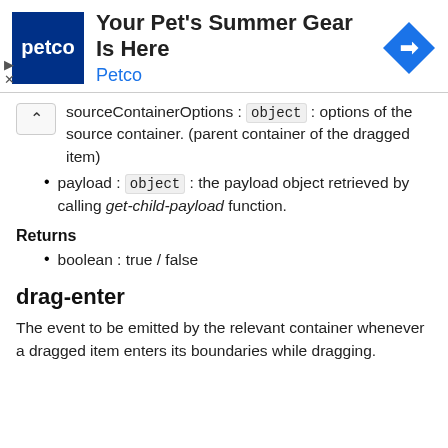[Figure (other): Petco advertisement banner with Petco logo (white text on dark blue background), title 'Your Pet's Summer Gear Is Here', subtitle 'Petco' in blue, and a blue navigation/direction icon on the right. Play and close (X) indicator icons on the left side.]
sourceContainerOptions : object : options of the source container. (parent container of the dragged item)
payload : object : the payload object retrieved by calling get-child-payload function.
Returns
boolean : true / false
drag-enter
The event to be emitted by the relevant container whenever a dragged item enters its boundaries while dragging.